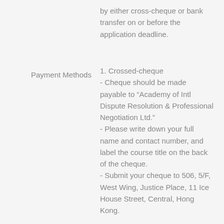by either cross-cheque or bank transfer on or before the application deadline.
Payment Methods
1. Crossed-cheque
- Cheque should be made payable to “Academy of Intl Dispute Resolution & Professional Negotiation Ltd."
- Please write down your full name and contact number, and label the course title on the back of the cheque.
- Submit your cheque to 506, 5/F, West Wing, Justice Place, 11 Ice House Street, Central, Hong Kong.